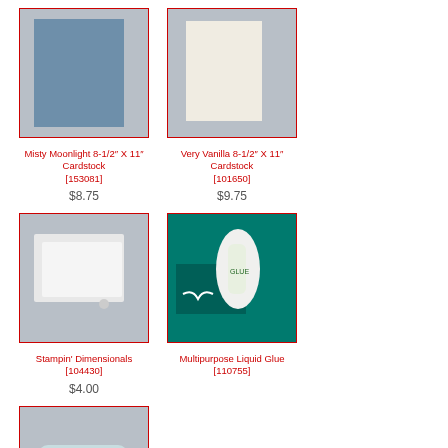[Figure (photo): Misty Moonlight blue cardstock sheet on grey background]
Misty Moonlight 8-1/2" X 11" Cardstock [153081]
$8.75
[Figure (photo): Very Vanilla cream cardstock sheet on grey background]
Very Vanilla 8-1/2" X 11" Cardstock [101650]
$9.75
[Figure (photo): Stampin' Dimensionals foam adhesive dots on grey background]
Stampin' Dimensionals [104430]
$4.00
[Figure (photo): Multipurpose Liquid Glue bottle on teal cardstock background]
Multipurpose Liquid Glue [110755]
[Figure (photo): Stampin' Seal tape runner on grey background]
Stampin' Seal [152813]